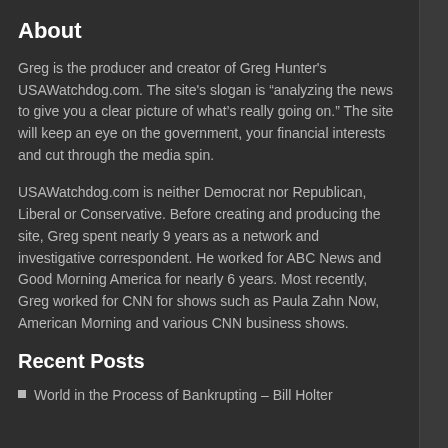About
Greg is the producer and creator of Greg Hunter's USAWatchdog.com. The site's slogan is “analyzing the news to give you a clear picture of what’s really going on.” The site will keep an eye on the government, your financial interests and cut through the media spin.
USAWatchdog.com is neither Democrat nor Republican, Liberal or Conservative. Before creating and producing the site, Greg spent nearly 9 years as a network and investigative correspondent. He worked for ABC News and Good Morning America for nearly 6 years. Most recently, Greg worked for CNN for shows such as Paula Zahn Now, American Morning and various CNN business shows.
Recent Posts
World in the Process of Bankrupting – Bill Holter